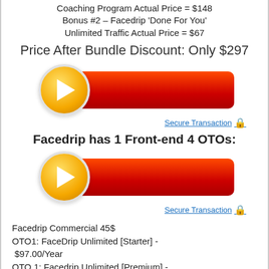Coaching Program Actual Price = $148 Bonus #2 – Facedrip 'Done For You' Unlimited Traffic Actual Price = $67
Price After Bundle Discount: Only $297
[Figure (illustration): Orange circle button with white arrow pointing right, attached to a red rounded rectangle bar — a call-to-action button graphic]
Secure Transaction 🔒
Facedrip has 1 Front-end 4 OTOs:
[Figure (illustration): Orange circle button with white arrow pointing right, attached to a red rounded rectangle bar — a call-to-action button graphic]
Secure Transaction 🔒
Facedrip Commercial 45$
OTO1: FaceDrip Unlimited [Starter] - $97.00/Year
OTO 1: Facedrip Unlimited [Premium] - $147/Year
OTO2: FaceDrip Professional - $57.00